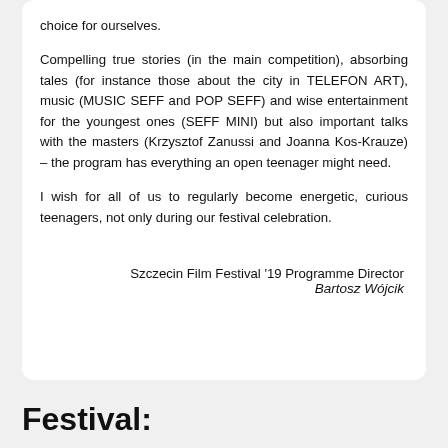choice for ourselves.
Compelling true stories (in the main competition), absorbing tales (for instance those about the city in TELEFON ART), music (MUSIC SEFF and POP SEFF) and wise entertainment for the youngest ones (SEFF MINI) but also important talks with the masters (Krzysztof Zanussi and Joanna Kos-Krauze) – the program has everything an open teenager might need.
I wish for all of us to regularly become energetic, curious teenagers, not only during our festival celebration.
Szczecin Film Festival '19 Programme Director
Bartosz Wójcik
Festival: